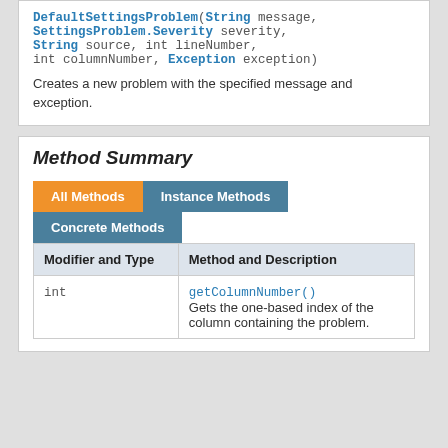DefaultSettingsProblem(String message, SettingsProblem.Severity severity, String source, int lineNumber, int columnNumber, Exception exception)
Creates a new problem with the specified message and exception.
Method Summary
| Modifier and Type | Method and Description |
| --- | --- |
| int | getColumnNumber()
Gets the one-based index of the column containing the problem. |